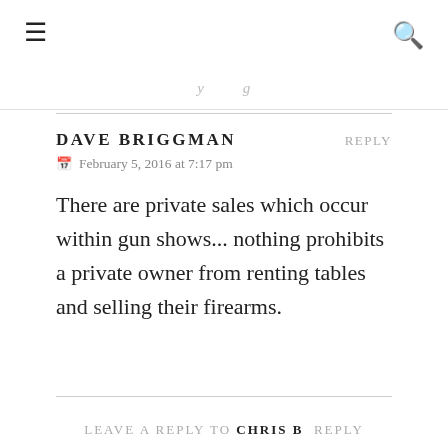≡  🔍
There are private sales which occur within gun shows... nothing prohibits a private owner from renting tables and selling their firearms.
DAVE BRIGGMAN  REPLY
📅 February 5, 2016 at 7:17 pm
LEAVE A REPLY TO CHRIS B  REPLY